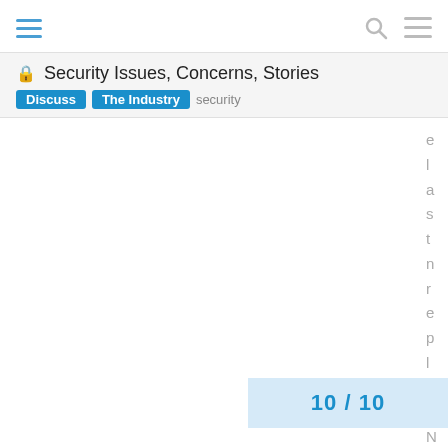hamburger menu, search, and menu icons
🔒 Security Issues, Concerns, Stories
Discuss | The Industry | security
e l a s t n r e p l y . N e w r
10 / 10